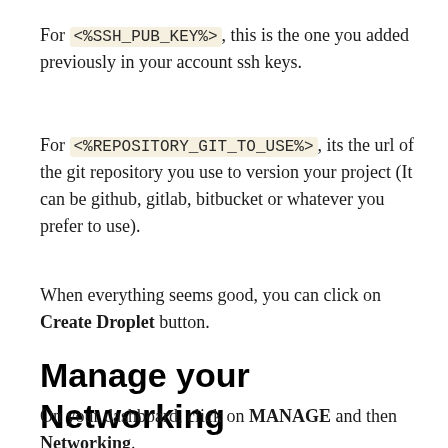For <%SSH_PUB_KEY%>, this is the one you added previously in your account ssh keys.
For <%REPOSITORY_GIT_TO_USE%>, its the url of the git repository you use to version your project (It can be github, gitlab, bitbucket or whatever you prefer to use).
When everything seems good, you can click on Create Droplet button.
Manage your Networking
On your dashboard, click on MANAGE and then Networking.
Enter your domain, choose the right project and click on